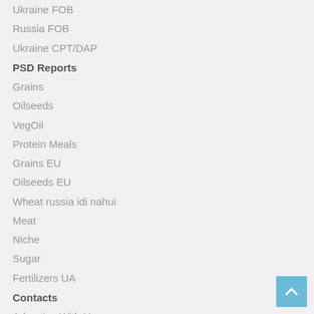Ukraine FOB
Russia FOB
Ukraine CPT/DAP
PSD Reports
Grains
Oilseeds
VegOil
Protein Meals
Grains EU
Oilseeds EU
Wheat russia idi nahui
Meat
Niche
Sugar
Fertilizers UA
Contacts
Advertise With Us:
contact@agrochart.com
🇬🇧 English
🇷🇺 Русский
🇺🇦 Українська
🇨🇳 中文